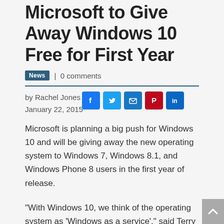Microsoft to Give Away Windows 10 Free for First Year
News | 0 comments
by Rachel Jones | January 22, 2015
Microsoft is planning a big push for Windows 10 and will be giving away the new operating system to Windows 7, Windows 8.1, and Windows Phone 8 users in the first year of release.
“With Windows 10, we think of the operating system as ‘Windows as a service’,” said Terry Myerson, Microsoft’s VP of operating systems